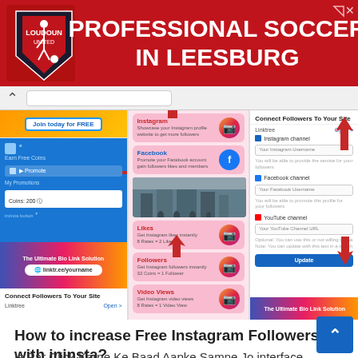[Figure (screenshot): Advertisement banner for Loudoun Soccer - Professional Soccer in Leesburg, red background with shield logo]
[Figure (screenshot): Browser screenshot showing three panels: left panel with a coins/promote app UI in blue, middle panel with Instagram/Facebook/Likes/Followers/Video Viewers cards in pink, right panel showing Connect Followers To Your Site form with Linktree fields for Instagram, Facebook, YouTube]
How to increase Free Instagram Followers with ininsta?
Is Par Click Karne Ke Baad Aapke Samne Jo interface